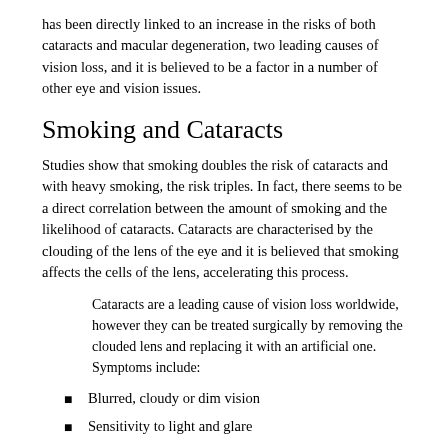has been directly linked to an increase in the risks of both cataracts and macular degeneration, two leading causes of vision loss, and it is believed to be a factor in a number of other eye and vision issues.
Smoking and Cataracts
Studies show that smoking doubles the risk of cataracts and with heavy smoking, the risk triples. In fact, there seems to be a direct correlation between the amount of smoking and the likelihood of cataracts. Cataracts are characterised by the clouding of the lens of the eye and it is believed that smoking affects the cells of the lens, accelerating this process.
Cataracts are a leading cause of vision loss worldwide, however they can be treated surgically by removing the clouded lens and replacing it with an artificial one. Symptoms include:
Blurred, cloudy or dim vision
Sensitivity to light and glare
Presence of halos around lights
Increasingly poor night vision